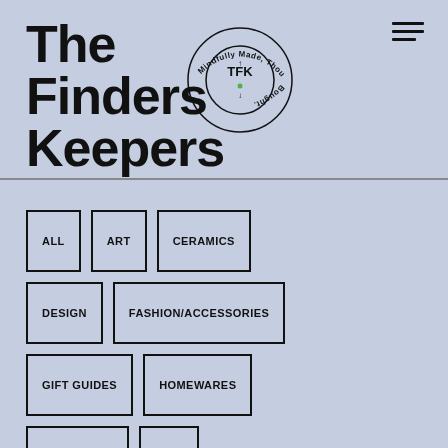The Finders Keepers
[Figure (logo): Circular logo with TFK initials in center and text 'Mindfully Made, Thoughtfully Bought.' around the edge]
ALL
ART
CERAMICS
DESIGN
FASHION/ACCESSORIES
GIFT GUIDES
HOMEWARES
JEWELLERY
KIDS
PUBLICATIONS
RESOURCES